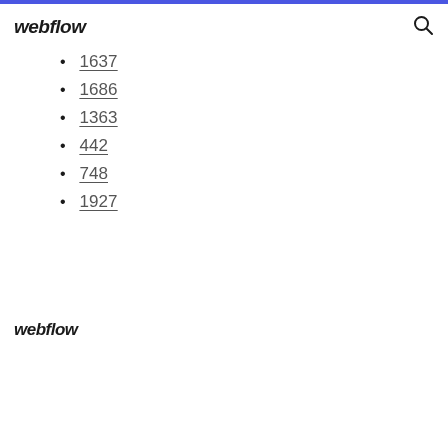webflow
1637
1686
1363
442
748
1927
webflow